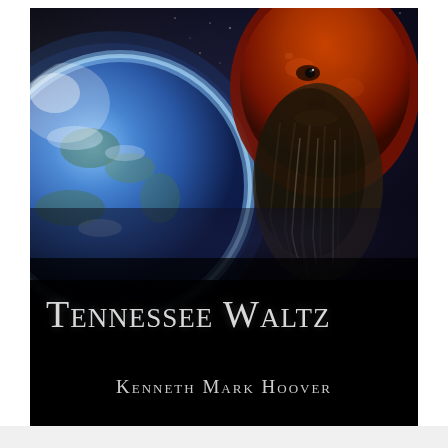[Figure (illustration): Book cover of 'Tennessee Waltz' by Kenneth Mark Hoover. Background shows a dark space scene with a glowing blue Earth on the left side and a bearded man with reddish-orange textured skin/face on the right, against a starry black sky. The lower portion has a dark/black band with the title 'TENNESSEE WALTZ' in large silver/grey small-caps font and below it the author name 'KENNETH MARK HOOVER' in smaller silver small-caps lettering.]
Tennessee Waltz
Kenneth Mark Hoover